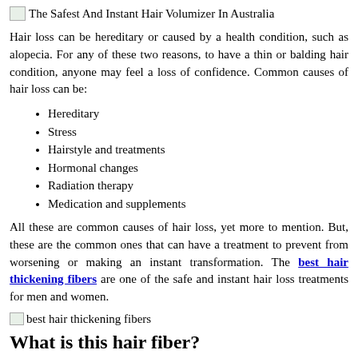The Safest And Instant Hair Volumizer In Australia
Hair loss can be hereditary or caused by a health condition, such as alopecia. For any of these two reasons, to have a thin or balding hair condition, anyone may feel a loss of confidence. Common causes of hair loss can be:
Hereditary
Stress
Hairstyle and treatments
Hormonal changes
Radiation therapy
Medication and supplements
All these are common causes of hair loss, yet more to mention. But, these are the common ones that can have a treatment to prevent from worsening or making an instant transformation. The best hair thickening fibers are one of the safe and instant hair loss treatments for men and women.
[Figure (photo): Small image placeholder labeled 'best hair thickening fibers']
What is this hair fiber?
The hair fiber known as Riothik has been used by a lot of men and